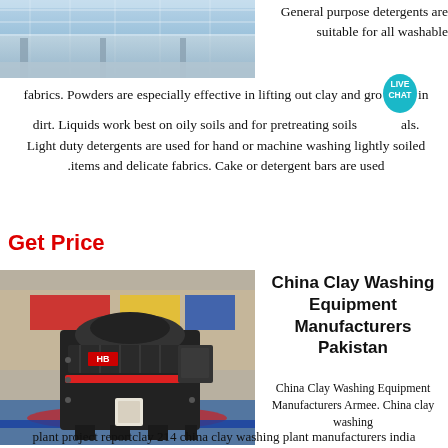[Figure (photo): Interior of an industrial/exhibition hall with glass ceiling and structural elements, partially visible on left side]
General purpose detergents are suitable for all washable fabrics. Powders are especially effective in lifting out clay and ground-in dirt. Liquids work best on oily soils and for pretreating soils [LIVE CHAT] als. Light duty detergents are used for hand or machine washing lightly soiled items and delicate fabrics. Cake or detergent bars are used
Get Price
[Figure (photo): Large industrial crushing/grinding machine (VSI crusher) displayed on a factory exhibition floor with colorful banners in background]
China Clay Washing Equipment Manufacturers Pakistan
China Clay Washing Equipment Manufacturers Armee. China clay washing plant project reportclay 214 china clay washing plant manufacturers india 511 kaolin from malaysia gypsum mining equipment get price how to